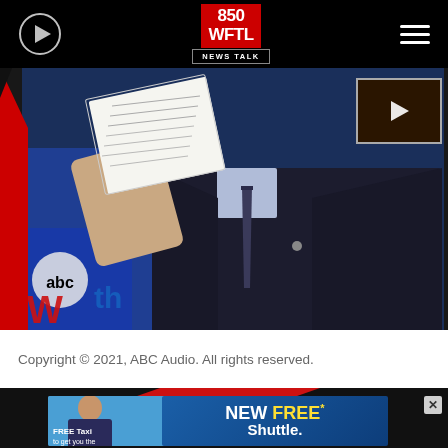850 WFTL News Talk
[Figure (screenshot): Video screenshot of a man in a dark suit holding papers on a TV news set, with ABC logo visible in background. A small video thumbnail overlay appears in the top right corner of the image.]
Copyright © 2021, ABC Audio. All rights reserved.
[Figure (photo): Advertisement banner showing 'NEW FREE* Shuttle.' text with a person and 'FREE Taxi to get you the...' text on left side, with close X button.]